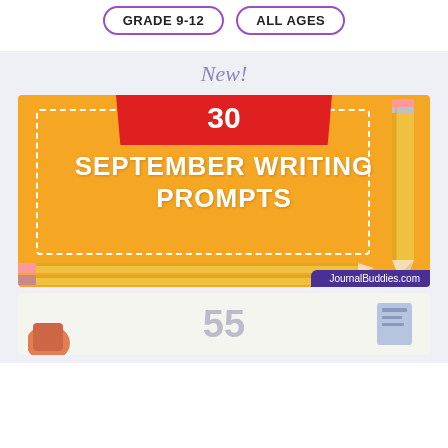GRADE 9-12
ALL AGES
New!
[Figure (illustration): Promotional banner for '30 September Writing Prompts' on JournalBuddies.com. Orange background with white bold text, red top banner showing '30', decorative pencils on right and bottom, purple JournalBuddies.com label at bottom right.]
[Figure (illustration): Partial view of another card showing the number 55 in gray, with partial colorful illustration elements on left and right sides.]